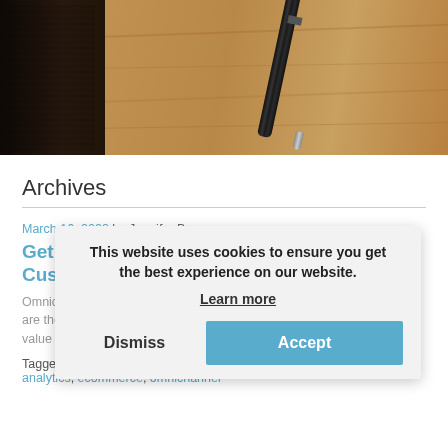[Figure (photo): Photo of a black leather notebook and a pen on a wooden desk surface]
Archives
March 16, 2022 by Jennifer Bosavage
Get the Omnichannel Word Out to Customers
Omnichannel is running the show in retail, and omnichannel shoppers are the most valuable. Retailers can calculate how to reach their highest value demographic. Continue reading →
This website uses cookies to ensure you get the best experience on our website. Learn more
Tagged BOPIS, customer engagement, customer satisfaction, data analytics, ecommerce, omnichannel